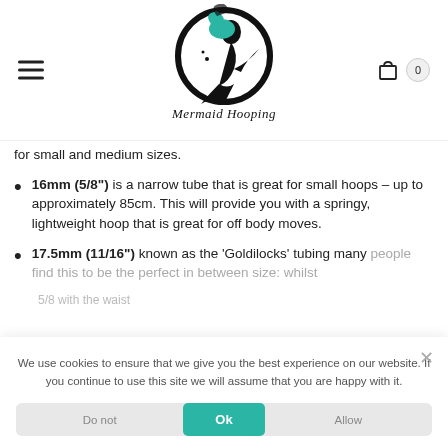[Figure (logo): Mermaid Hooping logo — a circular black silhouette of a mermaid with teal hair and the text 'Mermaid Hooping' in decorative script]
for small and medium sizes.
16mm (5/8") is a narrow tube that is great for small hoops – up to approximately 85cm. This will provide you with a springy, lightweight hoop that is great for off body moves.
17.5mm (11/16") known as the ‘Goldilocks’ tubing many people find this to be the perfect in between size: whilst
We use cookies to ensure that we give you the best experience on our website. If you continue to use this site we will assume that you are happy with it.